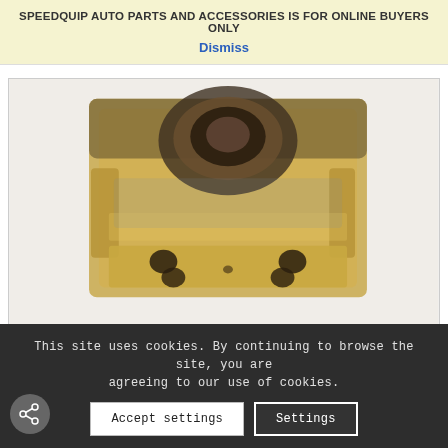SPEEDQUIP AUTO PARTS AND ACCESSORIES IS FOR ONLINE BUYERS ONLY
Dismiss
[Figure (photo): Close-up photo of a centre bearing auto part AR5398B for Isuzu KB40 SWB C190 4X4 1979-1989, showing a metal bracket with holes and bearing assembly with gold/bronze metallic finish]
CENTRE BEARING AR5398B:ISUZU KB40 SWB C190 4X4 1979-1989
Sale!
R224.25 • R201.25
This site uses cookies. By continuing to browse the site, you are agreeing to our use of cookies.
Accept settings
Settings